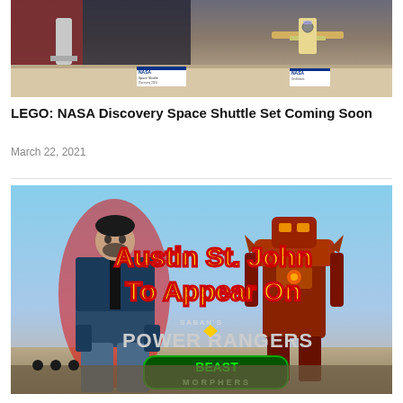[Figure (photo): Photo of LEGO NASA Discovery Space Shuttle set on a desk with NASA placards visible]
LEGO: NASA Discovery Space Shuttle Set Coming Soon
March 22, 2021
[Figure (photo): Promotional image for Austin St. John appearing on Power Rangers Beast Morphers, showing a man with a red outline and large yellow text overlay reading 'Austin St. John To Appear On' with Saban's Power Rangers Beast Morphers logo]
EXCLUSIVE: Austin St. John Set To Return For Team-Up In POWER RANGERS: Beast Morphers